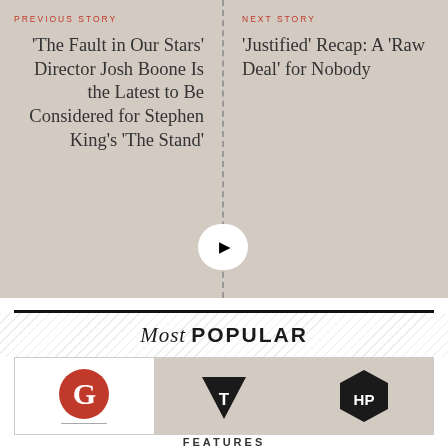PREVIOUS STORY
'The Fault in Our Stars' Director Josh Boone Is the Latest to Be Considered for Stephen King's 'The Stand'
NEXT STORY
'Justified' Recap: A 'Raw Deal' for Nobody
Most POPULAR
[Figure (logo): Three brand logos in a row: G (red circle), T (black downward triangle/shield), HP (black hexagon)]
FEATURES